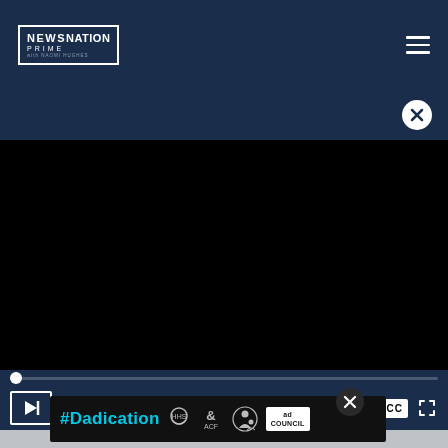[Figure (screenshot): NewsNation Prime navigation bar with logo on left and hamburger menu on right, dark navy background]
[Figure (screenshot): Dark navy ad bar with close X circle button on right]
[Figure (screenshot): Black video player area]
[Figure (screenshot): Video progress bar with white thumb at start position]
[Figure (screenshot): Video controls bar with play, mute, time display 00:00, CC and fullscreen buttons]
[Figure (screenshot): #Dadication advertisement banner with HHS, ACF, Fatherhood logos and Ad Council box]